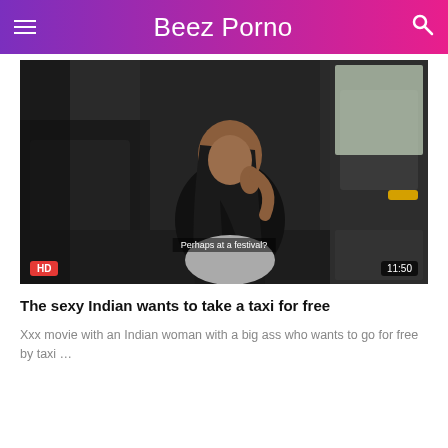Beez Porno
[Figure (screenshot): Video thumbnail showing a woman sitting in the back of a taxi cab. Overlays show HD badge, duration 11:50, and subtitle text 'Perhaps at a festival?']
The sexy Indian wants to take a taxi for free
Xxx movie with an Indian woman with a big ass who wants to go for free by taxi …